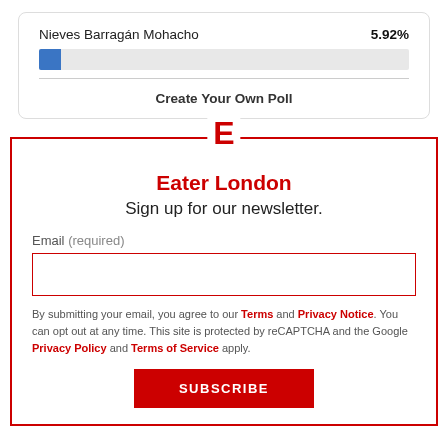Nieves Barragán Mohacho   5.92%
[Figure (bar-chart): Poll bar]
Create Your Own Poll
[Figure (logo): Red letter E logo for Eater]
Eater London
Sign up for our newsletter.
Email (required)
By submitting your email, you agree to our Terms and Privacy Notice. You can opt out at any time. This site is protected by reCAPTCHA and the Google Privacy Policy and Terms of Service apply.
SUBSCRIBE